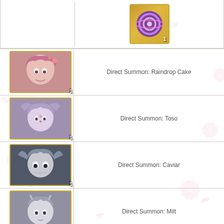[Figure (illustration): Game UI screenshot showing a list of items/rewards. Top: a purple coin/token item with quantity 1. Below: five rows each with a character portrait (anime-style) on left with quantity badge, and description text on right. Characters: pink-haired girl (qty 1), purple-haired woman (qty 1), dark shark-like character (qty 1), grey-horned girl (qty 1), dark-haired girl with red accessories (qty 1). Last row: small icon (qty 20). Pink sakura flower pattern background.]
Direct Summon: Raindrop Cake
Direct Summon: Toso
Direct Summon: Caviar
Direct Summon: Milt
Direct Summon: Sichuan Hotpot
Magic Mirrors x 20